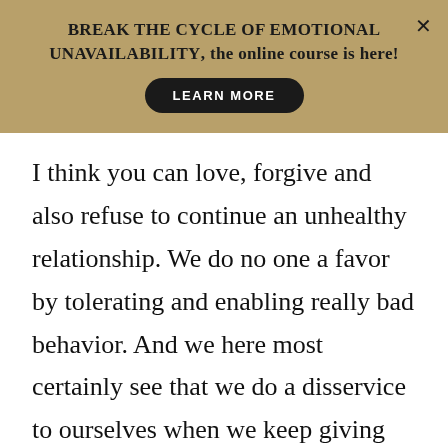BREAK THE CYCLE OF EMOTIONAL UNAVAILABILITY, the online course is here!
LEARN MORE
I think you can love, forgive and also refuse to continue an unhealthy relationship. We do no one a favor by tolerating and enabling really bad behavior. And we here most certainly see that we do a disservice to ourselves when we keep giving them a chance, over and over, ad nauseum.